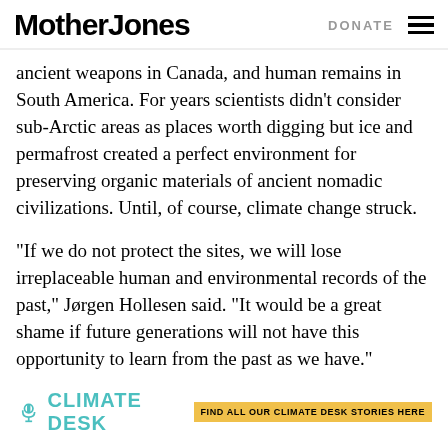Mother Jones | DONATE
ancient weapons in Canada, and human remains in South America. For years scientists didn't consider sub-Arctic areas as places worth digging but ice and permafrost created a perfect environment for preserving organic materials of ancient nomadic civilizations. Until, of course, climate change struck.
“If we do not protect the sites, we will lose irreplaceable human and environmental records of the past,” Jørgen Hollesen said. “It would be a great shame if future generations will not have this opportunity to learn from the past as we have.”
[Figure (logo): Climate Desk logo with teal microphone icon and teal text reading CLIMATE DESK, followed by a yellow badge reading FIND ALL OUR CLIMATE DESK STORIES HERE]